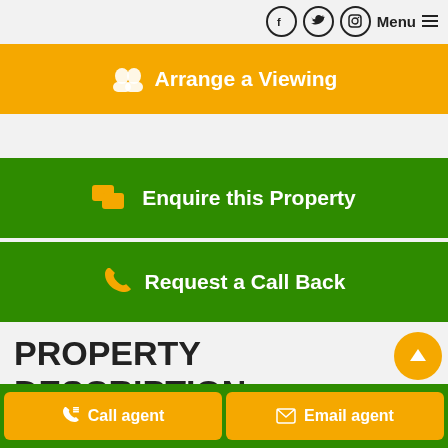Menu
Arrange a Viewing
Enquire this Property
Request a Call Back
PROPERTY DESCRIPTION
Experience this unique, modern, rustic-style ground floor apartment in Isla Plana! Just a few minutes from the beach, fully-furnished property offers amazing views as well as a
Call agent
Email agent